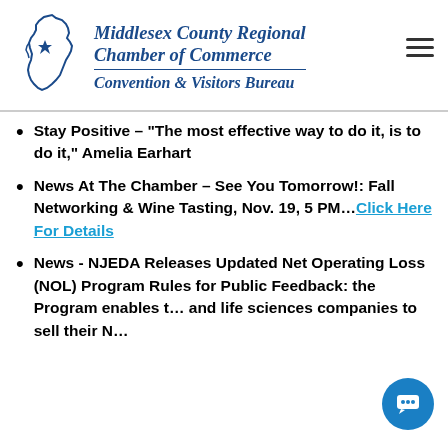[Figure (logo): Middlesex County Regional Chamber of Commerce Convention & Visitors Bureau logo with New Jersey state map outline and star]
Stay Positive – "The most effective way to do it, is to do it," Amelia Earhart
News At The Chamber – See You Tomorrow!: Fall Networking & Wine Tasting, Nov. 19, 5 PM…Click Here For Details
News - NJEDA Releases Updated Net Operating Loss (NOL) Program Rules for Public Feedback: the Program enables t… and life sciences companies to sell their N…